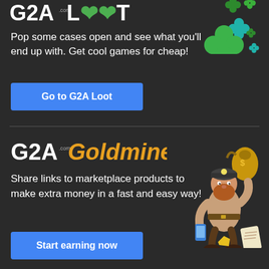[Figure (logo): G2A Loot logo with green clover icons at top]
Pop some cases open and see what you'll end up with. Get cool games for cheap!
Go to G2A Loot
[Figure (logo): G2A Goldmine logo - G2A in white bold, Goldmine in orange italic]
Share links to marketplace products to make extra money in a fast and easy way!
[Figure (illustration): Cartoon dwarf miner character with bag of gold]
Start earning now